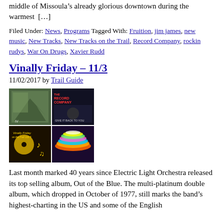middle of Missoula's already glorious downtown during the warmest […]
Filed Under: News, Programs Tagged With: Fruition, jim james, new music, New Tracks, New Tracks on the Trail, Record Company, rockin rudys, War On Drugs, Xavier Rudd
Vinally Friday – 11/3
11/02/2017 by Trail Guide
[Figure (photo): Collage of four album covers arranged in a 2x2 grid for Vinally Friday 11/3 post]
Last month marked 40 years since Electric Light Orchestra released its top selling album, Out of the Blue. The multi-platinum double album, which dropped in October of 1977, still marks the band's highest-charting in the US and some of the English